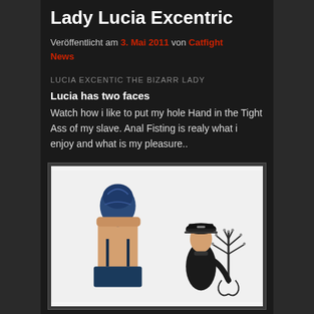Lady Lucia Excentric
Veröffentlicht am 3. Mai 2011 von Catfight News
LUCIA EXcentic THE BIZARR LADY
Lucia has two faces
Watch how i like to put my hole Hand in the Tight Ass of my slave. Anal Fisting is realy what i enjoy and what is my pleasure..
[Figure (photo): Two figures in latex/fetish attire. On the left, a person seen from behind wearing a blue latex hood and latex shorts with suspenders. On the right, a woman in a black military-style latex cap and collar, holding a candelabra-style object, against a white background.]